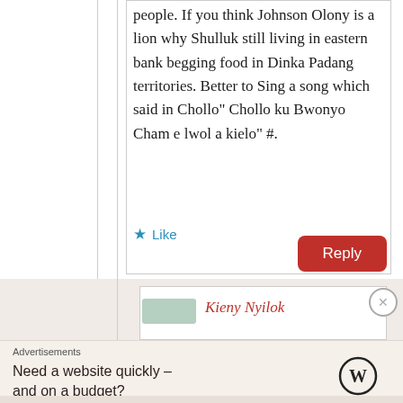people. If you think Johnson Olony is a lion why Shulluk still living in eastern bank begging food in Dinka Padang territories. Better to Sing a song which said in Chollo" Chollo ku Bwonyo Cham e lwol a kielo" #.
★ Like
Reply
Kieny Nyilok
Advertisements
Need a website quickly – and on a budget?